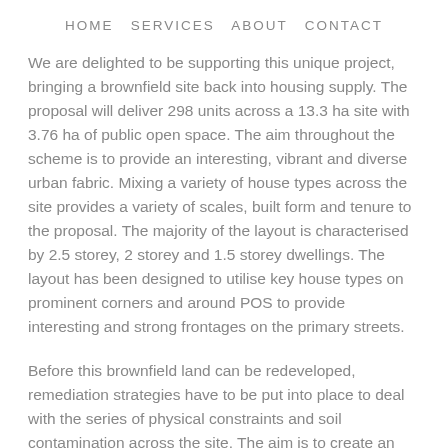HOME   SERVICES   ABOUT   CONTACT
We are delighted to be supporting this unique project, bringing a brownfield site back into housing supply. The proposal will deliver 298 units across a 13.3 ha site with 3.76 ha of public open space. The aim throughout the scheme is to provide an interesting, vibrant and diverse urban fabric. Mixing a variety of house types across the site provides a variety of scales, built form and tenure to the proposal. The majority of the layout is characterised by 2.5 storey, 2 storey and 1.5 storey dwellings. The layout has been designed to utilise key house types on prominent corners and around POS to provide interesting and strong frontages on the primary streets.
Before this brownfield land can be redeveloped, remediation strategies have to be put into place to deal with the series of physical constraints and soil contamination across the site. The aim is to create an integrated community focused development, which draws on its natural setting, creates its own sense of place and demonstrates a clear hierarchy of